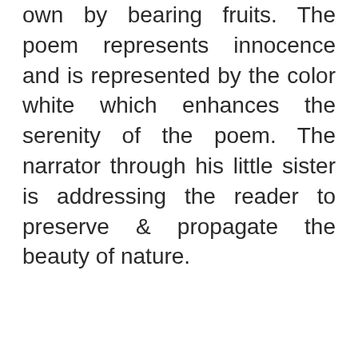own by bearing fruits. The poem represents innocence and is represented by the color white which enhances the serenity of the poem. The narrator through his little sister is addressing the reader to preserve & propagate the beauty of nature.